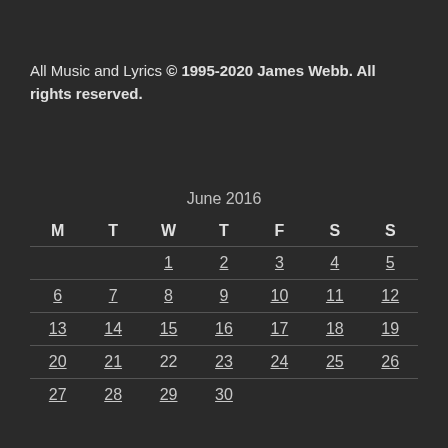All Music and Lyrics © 1995-2020 James Webb.  All rights reserved.
| M | T | W | T | F | S | S |
| --- | --- | --- | --- | --- | --- | --- |
|  |  | 1 | 2 | 3 | 4 | 5 |
| 6 | 7 | 8 | 9 | 10 | 11 | 12 |
| 13 | 14 | 15 | 16 | 17 | 18 | 19 |
| 20 | 21 | 22 | 23 | 24 | 25 | 26 |
| 27 | 28 | 29 | 30 |  |  |  |